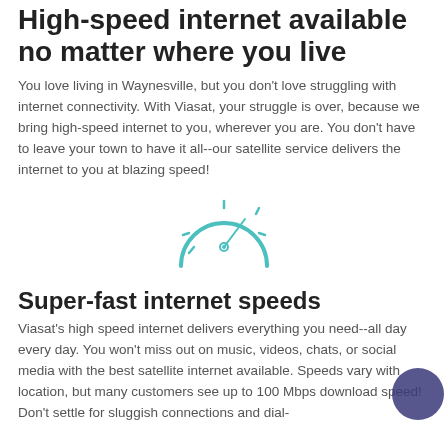High-speed internet available no matter where you live
You love living in Waynesville, but you don't love struggling with internet connectivity. With Viasat, your struggle is over, because we bring high-speed internet to you, wherever you are. You don't have to leave your town to have it all--our satellite service delivers the internet to you at blazing speed!
[Figure (illustration): Speedometer / gauge icon drawn in teal outline style, circular dial with a needle pointing upper right]
Super-fast internet speeds
Viasat's high speed internet delivers everything you need--all day every day. You won't miss out on music, videos, chats, or social media with the best satellite internet available. Speeds vary with location, but many customers see up to 100 Mbps download speed! Don't settle for sluggish connections and dial-up limitations. Viasat has the performance and reliability you...